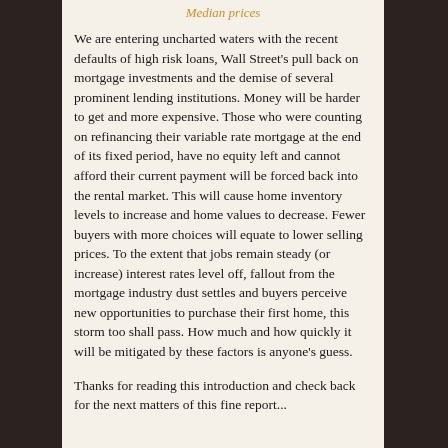Median prices
We are entering uncharted waters with the recent defaults of high risk loans, Wall Street's pull back on mortgage investments and the demise of several prominent lending institutions. Money will be harder to get and more expensive. Those who were counting on refinancing their variable rate mortgage at the end of its fixed period, have no equity left and cannot afford their current payment will be forced back into the rental market. This will cause home inventory levels to increase and home values to decrease. Fewer buyers with more choices will equate to lower selling prices. To the extent that jobs remain steady (or increase) interest rates level off, fallout from the mortgage industry dust settles and buyers perceive new opportunities to purchase their first home, this storm too shall pass. How much and how quickly it will be mitigated by these factors is anyone's guess.
Thanks for reading this introduction and check back for the next matters of this fine report...